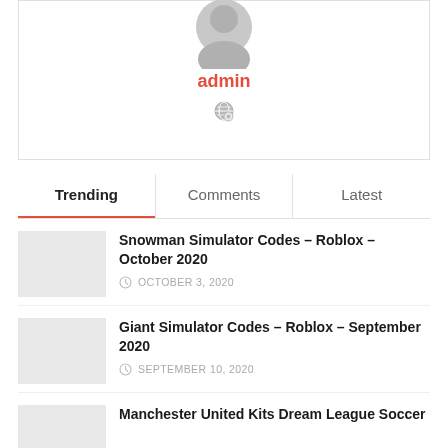[Figure (photo): Grey avatar/profile icon (top portion visible)]
admin
[Figure (illustration): Small grey globe/world icon]
Trending   Comments   Latest
Snowman Simulator Codes – Roblox – October 2020
OCTOBER 3, 2020
Giant Simulator Codes – Roblox – September 2020
SEPTEMBER 10, 2020
Manchester United Kits Dream League Soccer